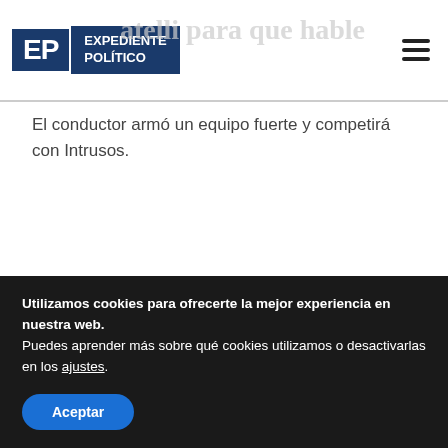Expediente Político
...atelli para que hable
El conductor armó un equipo fuerte y competirá con Intrusos.
[Figure (photo): Man with glasses and grey beard in a dark vest presenting in front of a blue sky studio backdrop with clouds]
Utilizamos cookies para ofrecerte la mejor experiencia en nuestra web.
Puedes aprender más sobre qué cookies utilizamos o desactivarlas en los ajustes.
Aceptar